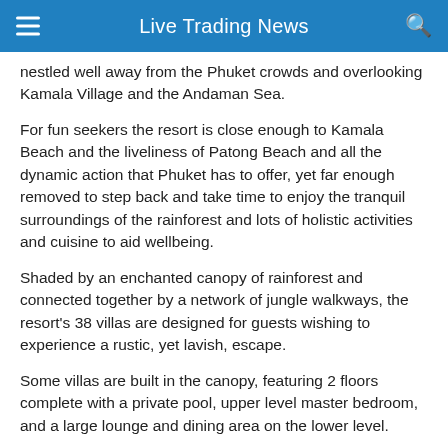Live Trading News
nestled well away from the Phuket crowds and overlooking Kamala Village and the Andaman Sea.
For fun seekers the resort is close enough to Kamala Beach and the liveliness of Patong Beach and all the dynamic action that Phuket has to offer, yet far enough removed to step back and take time to enjoy the tranquil surroundings of the rainforest and lots of holistic activities and cuisine to aid wellbeing.
Shaded by an enchanted canopy of rainforest and connected together by a network of jungle walkways, the resort's 38 villas are designed for guests wishing to experience a rustic, yet lavish, escape.
Some villas are built in the canopy, featuring 2 floors complete with a private pool, upper level master bedroom, and a large lounge and dining area on the lower level.
[Figure (photo): Aerial/landscape photo showing tropical rainforest canopy with blue sky and sea in the background]